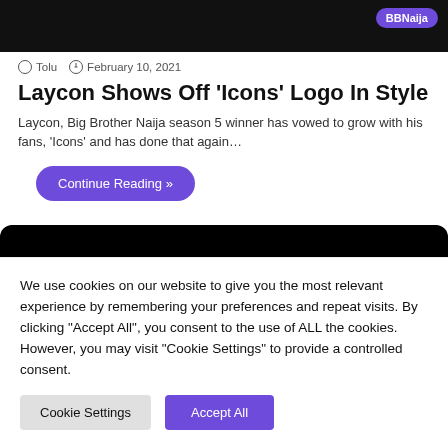[Figure (photo): Dark/black image strip with BBNaija tag in top-right corner]
Tolu   February 10, 2021
Laycon Shows Off ‘Icons’ Logo In Style
Laycon, Big Brother Naija season 5 winner has vowed to grow with his fans, 'Icons' and has done that again…
Continue Reading »
[Figure (photo): Dark black image area below the article snippet]
We use cookies on our website to give you the most relevant experience by remembering your preferences and repeat visits. By clicking “Accept All”, you consent to the use of ALL the cookies. However, you may visit "Cookie Settings" to provide a controlled consent.